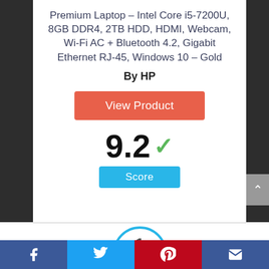Premium Laptop – Intel Core i5-7200U, 8GB DDR4, 2TB HDD, HDMI, Webcam, Wi-Fi AC + Bluetooth 4.2, Gigabit Ethernet RJ-45, Windows 10 – Gold
By HP
View Product
9.2
Score
1